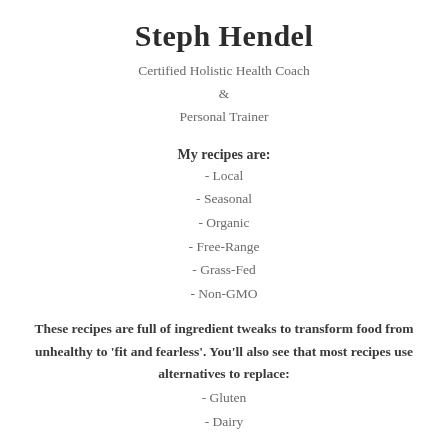Steph Hendel
Certified Holistic Health Coach
&
Personal Trainer
My recipes are:
- Local
- Seasonal
- Organic
- Free-Range
- Grass-Fed
- Non-GMO
These recipes are full of ingredient tweaks to transform food from unhealthy to 'fit and fearless'. You'll also see that most recipes use alternatives to replace:
- Gluten
- Dairy